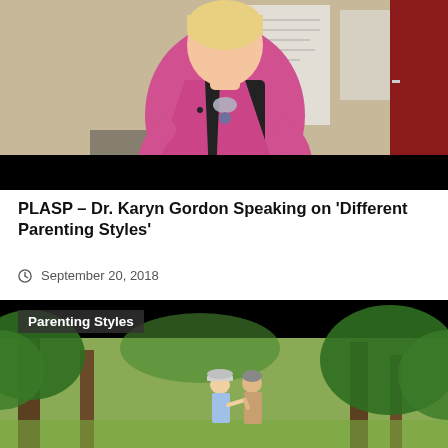[Figure (photo): Woman in pink blazer and black top with necklace, speaking or presenting, standing in front of a wall with papers/posters. Black letterbox bars at bottom.]
PLASP – Dr. Karyn Gordon Speaking on 'Different Parenting Styles'
September 20, 2018
[Figure (photo): Outdoor scene with tall green trees and two people interacting, with a label overlay reading 'Parenting Styles'. Black bar at top.]